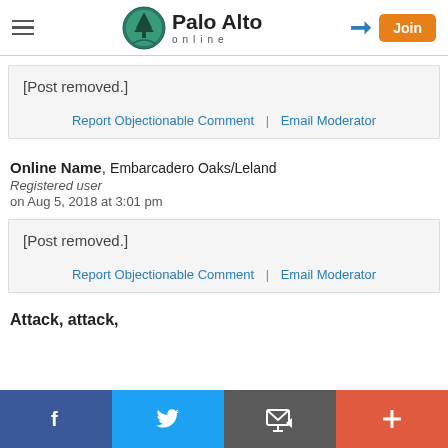Palo Alto online — navigation header with hamburger menu, logo, login arrow, and Join button
[Post removed.]
Report Objectionable Comment | Email Moderator
Online Name, Embarcadero Oaks/Leland
Registered user
on Aug 5, 2018 at 3:01 pm
[Post removed.]
Report Objectionable Comment | Email Moderator
Attack, attack,
Facebook | Twitter | Email | +